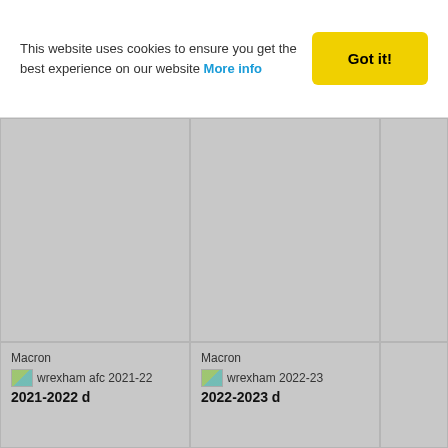This website uses cookies to ensure you get the best experience on our website More info
Got it!
[Figure (screenshot): Top row of product grid showing three grey placeholder product cells]
Macron
[Figure (photo): wrexham afc 2021-22 kit image placeholder]
2021-2022 d
Macron
[Figure (photo): wrexham 2022-23 kit image placeholder]
2022-2023 d